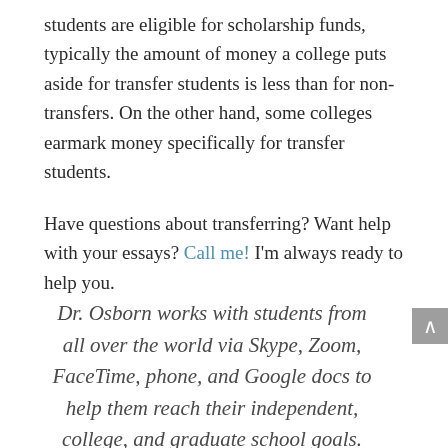students are eligible for scholarship funds, typically the amount of money a college puts aside for transfer students is less than for non-transfers. On the other hand, some colleges earmark money specifically for transfer students.
Have questions about transferring? Want help with your essays? Call me! I'm always ready to help you.
Dr. Osborn works with students from all over the world via Skype, Zoom, FaceTime, phone, and Google docs to help them reach their independent, college, and graduate school goals. Through a personal, one-on-one approach, Dr. Osborn creates individualized...